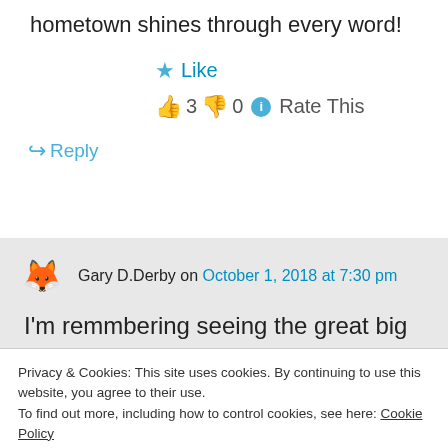hometown shines through every word!
★ Like
👍 3  👎 0  ℹ Rate This
↪ Reply
Gary D.Derby on October 1, 2018 at 7:30 pm
I'm remmbering seeing the great big power plant . loved waking straight up to it . I was
★ Like
Privacy & Cookies: This site uses cookies. By continuing to use this website, you agree to their use.
To find out more, including how to control cookies, see here: Cookie Policy
Close and accept